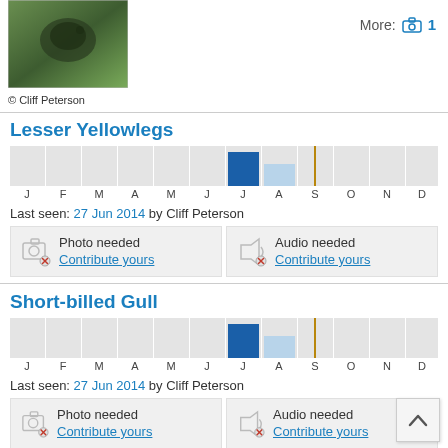[Figure (photo): Photograph of a bird (Lesser Yellowlegs) perched on a branch, photographed by Cliff Peterson]
© Cliff Peterson
More: 1
Lesser Yellowlegs
[Figure (bar-chart): Seasonal occurrence bar chart for Lesser Yellowlegs]
Last seen: 27 Jun 2014 by Cliff Peterson
Photo needed
Contribute yours
Audio needed
Contribute yours
Short-billed Gull
[Figure (bar-chart): Seasonal occurrence bar chart for Short-billed Gull]
Last seen: 27 Jun 2014 by Cliff Peterson
Photo needed
Contribute yours
Audio needed
Contribute yours